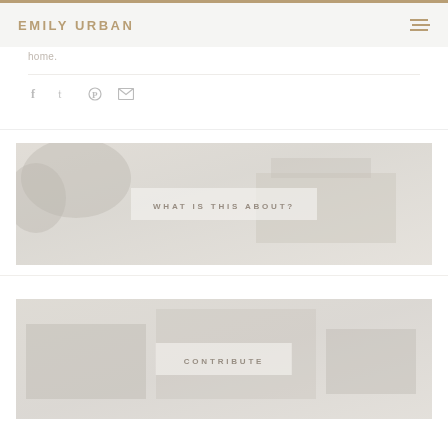EMILY URBAN
home.
[Figure (other): Social share icons: Facebook, Twitter, Pinterest, Email]
[Figure (photo): Outdoor photo with trees and building, overlaid with text 'WHAT IS THIS ABOUT?']
[Figure (photo): Outdoor/architectural photo with text overlay 'CONTRIBUTE']